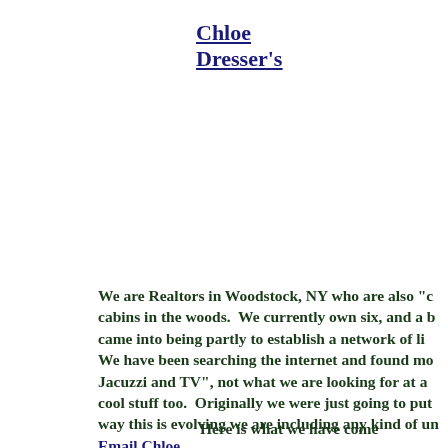Chloe Dresser's
We are Realtors in Woodstock, NY who are also "c... cabins in the woods.  We currently own six, and a b... came into being partly to establish a network of li... We have been searching the internet and found mo... Jacuzzi and TV", not what we are looking for at a... cool stuff too.  Originally we were just going to put... way this is evolving we are including any kind of un... Email Chloe
Here is what we have come